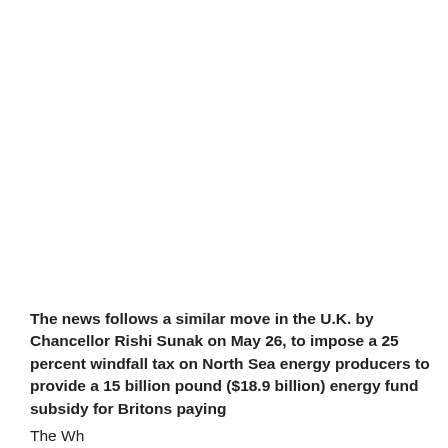The news follows a similar move in the U.K. by Chancellor Rishi Sunak on May 26, to impose a 25 percent windfall tax on North Sea energy producers to provide a 15 billion pound ($18.9 billion) energy fund subsidy for Britons paying
The Wh